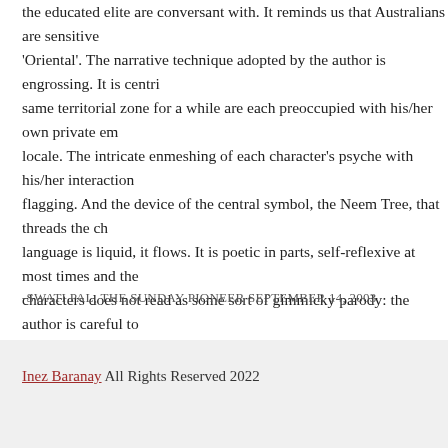the educated elite are conversant with. It reminds us that Australians are sensitive 'Oriental'. The narrative technique adopted by the author is engrossing. It is centri same territorial zone for a while are each preoccupied with his/her own private em locale. The intricate enmeshing of each character's psyche with his/her interaction flagging. And the device of the central symbol, the Neem Tree, that threads the ch language is liquid, it flows. It is poetic in parts, self-reflexive at most times and the characters does not read as some sort of gimmicky parody: the author is careful to based on class, community and nature of education. Perhaps the closure that the au dissatisfaction. But it could also be read positively. Whatever it evokes, it is certain surely an excellent reason for reading a novel. So, Read It.
-SWATI PAL, THE SUNDAY PIONEER SEPTEMBER 14, 2003
Inez Baranay All Rights Reserved 2022